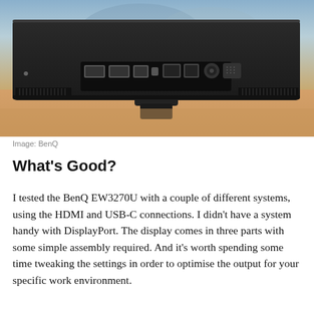[Figure (photo): Rear view of BenQ EW3270U monitor showing ports including HDMI, USB-C, DisplayPort, and power connector. The monitor is shown from behind against a blue sky and warm golden surface background.]
Image: BenQ
What's Good?
I tested the BenQ EW3270U with a couple of different systems, using the HDMI and USB-C connections. I didn't have a system handy with DisplayPort. The display comes in three parts with some simple assembly required. And it's worth spending some time tweaking the settings in order to optimise the output for your specific work environment.